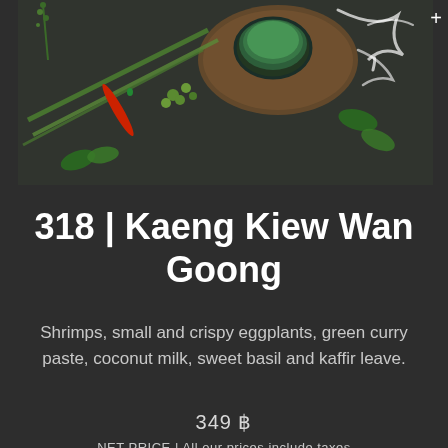[Figure (photo): Top-down food photography showing green herbs, Thai eggplants, a red chili pepper, lemongrass, kaffir lime leaves, a bowl of green curry sauce on a wooden board, and white brush stroke decoration on a dark stone background.]
318 | Kaeng Kiew Wan Goong
Shrimps, small and crispy eggplants, green curry paste, coconut milk, sweet basil and kaffir leave.
349 ฿
NET PRICE | All our prices include taxes